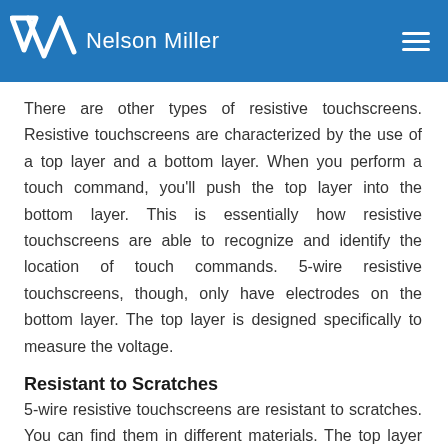Nelson Miller
There are other types of resistive touchscreens. Resistive touchscreens are characterized by the use of a top layer and a bottom layer. When you perform a touch command, you'll push the top layer into the bottom layer. This is essentially how resistive touchscreens are able to recognize and identify the location of touch commands. 5-wire resistive touchscreens, though, only have electrodes on the bottom layer. The top layer is designed specifically to measure the voltage.
Resistant to Scratches
5-wire resistive touchscreens are resistant to scratches. You can find them in different materials. The top layer can be made of a variety of transparent and electrically resistive materials, such as glass or plastic. Regardless, 5-wire